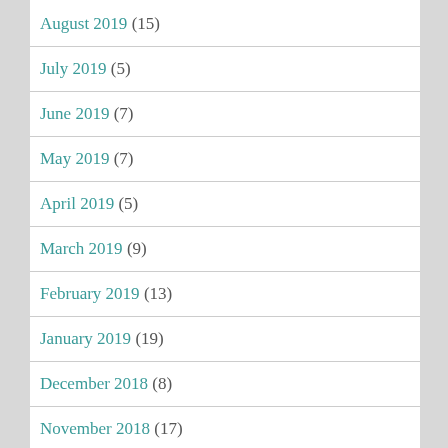August 2019 (15)
July 2019 (5)
June 2019 (7)
May 2019 (7)
April 2019 (5)
March 2019 (9)
February 2019 (13)
January 2019 (19)
December 2018 (8)
November 2018 (17)
October 2018 (17)